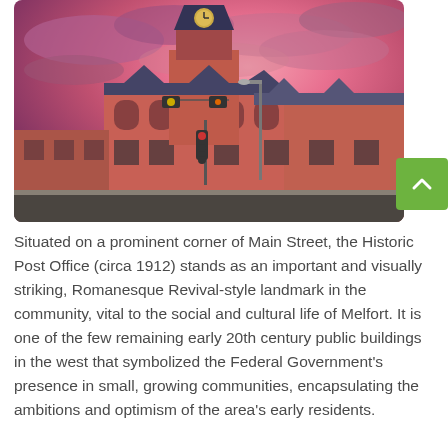[Figure (photo): Historic Post Office building (circa 1912) on a prominent corner, red brick Romanesque Revival-style architecture with a clock tower, photographed at sunset with dramatic pink and purple clouds]
Situated on a prominent corner of Main Street, the Historic Post Office (circa 1912) stands as an important and visually striking, Romanesque Revival-style landmark in the community, vital to the social and cultural life of Melfort. It is one of the few remaining early 20th century public buildings in the west that symbolized the Federal Government's presence in small, growing communities, encapsulating the ambitions and optimism of the area's early residents.